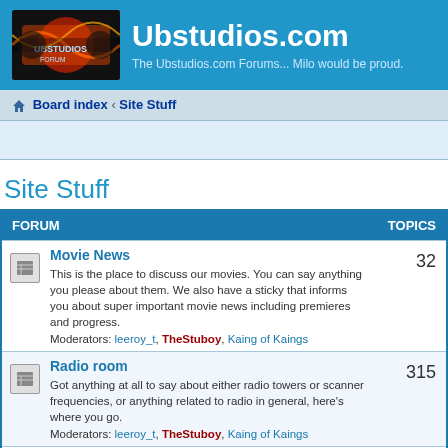Ubstudios.com — The Ubstudios.com Forums... Milo would be proud.
Board index · Site Stuff
Site Stuff
| FORUM | TOPICS |
| --- | --- |
| Movie News
This is the place to discuss our movies. You can say anything you please about them. We also have a sticky that informs you about super important movie news including premieres and progress.
Moderators: leeroy_t, TheStuboy, Kaing of Kaings | 32 |
| Radio room
Got anything at all to say about either radio towers or scanner frequencies, or anything related to radio in general, here's where you go.
Moderators: leeroy_t, TheStuboy, Kaing of Kaings | 315 |
| Scary Central
Post anything related to paranormal here, from UFOs, to scary ghosts, to anything out of the ordinary, including military stuff such as scary plane sightings and flyovers etc.
Moderators: leeroy_t, TheStuboy, Kaing of Kaings | 25 |
| Forum/Site/Tech Support |  |